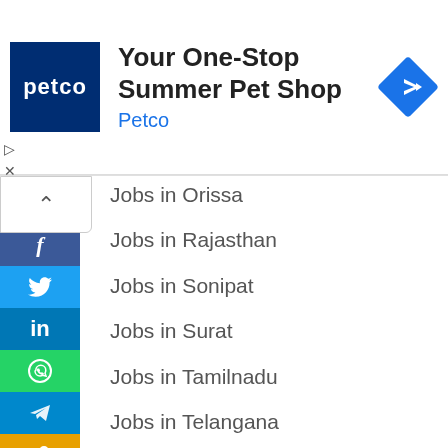[Figure (screenshot): Petco advertisement banner with logo, title 'Your One-Stop Summer Pet Shop', brand 'Petco', and navigation arrow icon]
Jobs in Orissa
Jobs in Rajasthan
Jobs in Sonipat
Jobs in Surat
Jobs in Tamilnadu
Jobs in Telangana
Jobs in Uttarakhand
Jobs in Vadodara
Jobs in West bengal